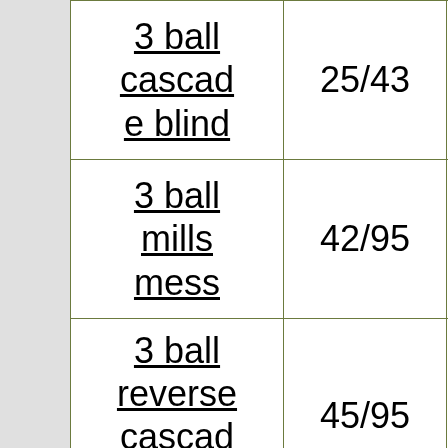| 3 ball cascade blind | 25/43 | 96c |
| 3 ball mills mess | 42/95 | 200c |
| 3 ball reverse cascade | 45/95 | 200c |
| 3 club |  |  |